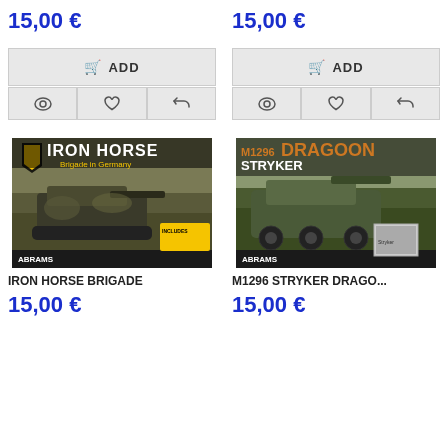15,00 €
15,00 €
ADD
ADD
[Figure (photo): Book cover: Iron Horse Brigade in Germany, published by Abrams, showing a military tank (Bradley fighting vehicle) in a forest camouflage setting]
[Figure (photo): Book cover: M1296 Stryker Dragoon, published by Abrams, showing a wheeled armored Stryker vehicle in a field setting]
IRON HORSE BRIGADE
M1296 STRYKER DRAGO...
15,00 €
15,00 €